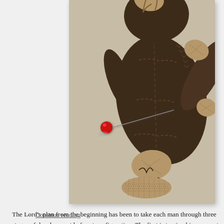[Figure (photo): Close-up photograph of a voodoo doll made of dark stitched fabric with burlap/string details, a pin with a red ball head stuck into it, against a light textured background.]
The Lord's plan from the beginning has been to take each man through three stages of development before transfiguration. The first is to give him access to the Tree of Life (bread) and test his obedience as a priest. Adam failed this test. The second is to give him access to the Tree of the Knowledge of Good and Evil (wine) and test his wisdom as a king. Solomon failed this test. The third is to give him access to membership of God's council of elders as a decision maker, one whose words in and of themselves change history. This is testing as a Prophet, one who has been called to be broken bread and poured out wine, and whose final years are spent giving his words to the next generation.[1] The Old Covenant prophets passed this te
··• Continue reading